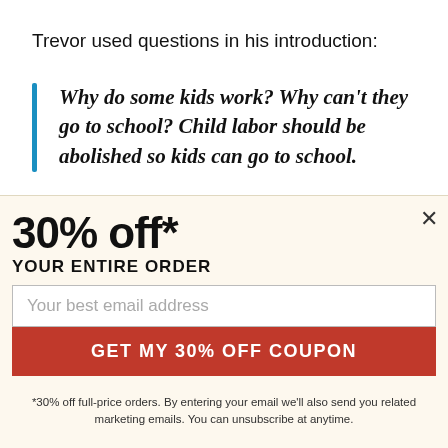Trevor used questions in his introduction:
Why do some kids work? Why can't they go to school? Child labor should be abolished so kids can go to school.
The introductions varied in sophistication, but
30% off*
YOUR ENTIRE ORDER
Your best email address
GET MY 30% OFF COUPON
*30% off full-price orders. By entering your email we'll also send you related marketing emails. You can unsubscribe at anytime.